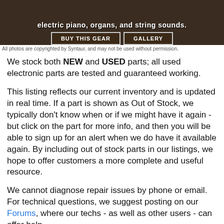[Figure (photo): Dark background image of music gear (keyboard/piano) with overlay text 'electric piano, organs, and string sounds.' and two buttons: 'BUY THIS GEAR' and 'GALLERY']
All photos are copyrighted by Syntaur, and may not be used without permission.
We stock both NEW and USED parts; all used electronic parts are tested and guaranteed working.
This listing reflects our current inventory and is updated in real time. If a part is shown as Out of Stock, we typically don't know when or if we might have it again - but click on the part for more info, and then you will be able to sign up for an alert when we do have it available again. By including out of stock parts in our listings, we hope to offer customers a more complete and useful resource.
We cannot diagnose repair issues by phone or email. For technical questions, we suggest posting on our Forums, where our techs - as well as other users - can offer help.